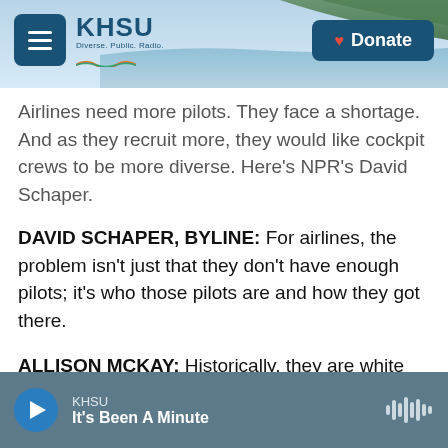[Figure (screenshot): KHSU radio website header with hamburger menu, KHSU logo, beach/coastal background, and Donate button]
Airlines need more pilots. They face a shortage. And as they recruit more, they would like cockpit crews to be more diverse. Here's NPR's David Schaper.
DAVID SCHAPER, BYLINE: For airlines, the problem isn't just that they don't have enough pilots; it's who those pilots are and how they got there.
ALLISON MCKAY: Historically, they are white men, and they either came out of the military, or there was some family connection to aviation that got them into flying, and that has been the majority of the makeup for decades.
KHSU · It's Been A Minute